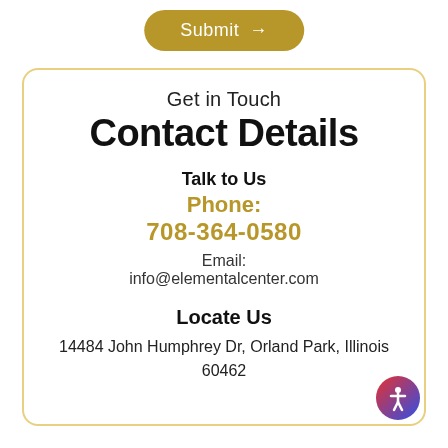[Figure (other): Golden pill-shaped Submit button with arrow pointing right]
Get in Touch
Contact Details
Talk to Us
Phone:
708-364-0580
Email:
info@elementalcenter.com
Locate Us
14484 John Humphrey Dr, Orland Park, Illinois 60462
[Figure (other): Accessibility icon button (red and blue circular button with person symbol)]